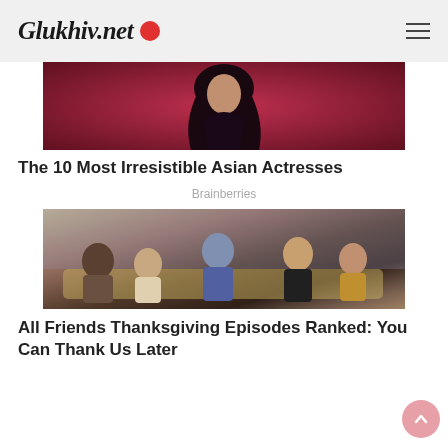Glukhiv.net
[Figure (photo): Woman with dark curly hair against a red background]
The 10 Most Irresistible Asian Actresses
Brainberries
[Figure (photo): Scene from Friends TV show with cast members sitting in a living room]
All Friends Thanksgiving Episodes Ranked: You Can Thank Us Later